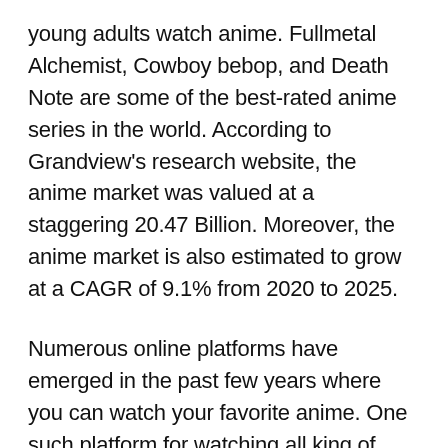young adults watch anime. Fullmetal Alchemist, Cowboy bebop, and Death Note are some of the best-rated anime series in the world. According to Grandview's research website, the anime market was valued at a staggering 20.47 Billion. Moreover, the anime market is also estimated to grow at a CAGR of 9.1% from 2020 to 2025.
Numerous online platforms have emerged in the past few years where you can watch your favorite anime. One such platform for watching all king of anime is Kissanime. Kissanime is an online platform that lets you stream thousands of Anime series for free. Kissanime is a viral platform with millions of users worldwide using it to watch their favorite anime.